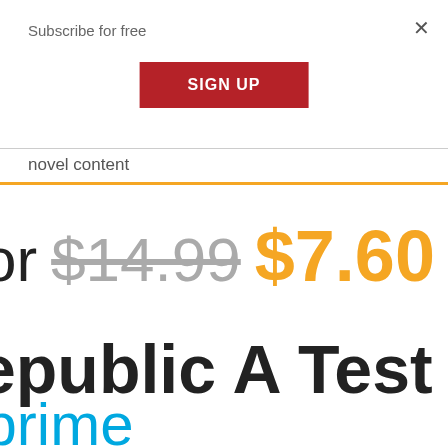Subscribe for free
×
SIGN UP
novel content
or $14.99 $7.60
epublic A Test of
prime